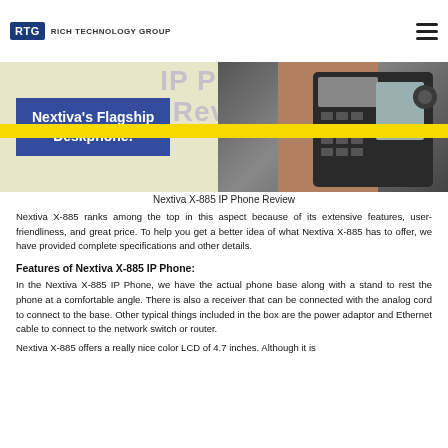RTG RICH TECHNOLOGY GROUP | IP Phone Review
[Figure (photo): Hero banner showing Nextiva's Flagship Deskphone advertisement with a dark IP phone on a yellow and blue background, with large semi-transparent 'IP Phone Review' text overlay.]
Nextiva X-885 IP Phone Review
Nextiva X-885 ranks among the top in this aspect because of its extensive features, user-friendliness, and great price. To help you get a better idea of what Nextiva X-885 has to offer, we have provided complete specifications and other details.
Features of Nextiva X-885 IP Phone:
In the Nextiva X-885 IP Phone, we have the actual phone base along with a stand to rest the phone at a comfortable angle. There is also a receiver that can be connected with the analog cord to connect to the base. Other typical things included in the box are the power adaptor and Ethernet cable to connect to the network switch or router.
Nextiva X-885 offers a really nice color LCD of 4.7 inches. Although it is